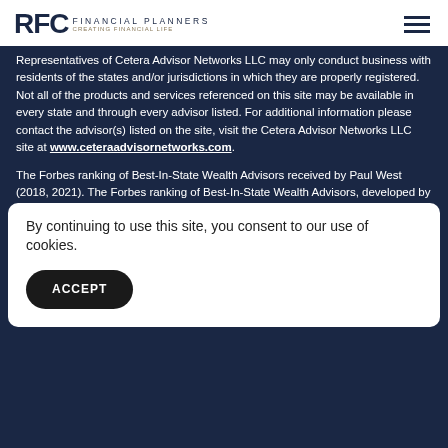RFC FINANCIAL PLANNERS
Representatives of Cetera Advisor Networks LLC may only conduct business with residents of the states and/or jurisdictions in which they are properly registered. Not all of the products and services referenced on this site may be available in every state and through every advisor listed. For additional information please contact the advisor(s) listed on the site, visit the Cetera Advisor Networks LLC site at www.ceteraadvisornetworks.com.
The Forbes ranking of Best-In-State Wealth Advisors received by Paul West (2018, 2021). The Forbes ranking of Best-In-State Wealth Advisors, developed by SHOOK Research, is based on an algorithm of qualitative data, rating thousands of wealth advisors with a minimum of seven years' experience and weighing factors like revenue trends, assets under management, compliance records, industry experience, and best practices learned through telephone and in-person interviews. Portfolio performance is not a criteria due to varying client objectives and lack of au... Re... 15... n-pe... thi...
By continuing to use this site, you consent to our use of cookies.